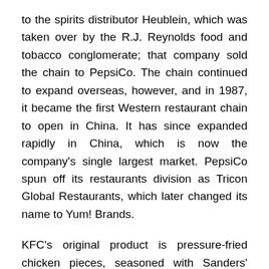to the spirits distributor Heublein, which was taken over by the R.J. Reynolds food and tobacco conglomerate; that company sold the chain to PepsiCo. The chain continued to expand overseas, however, and in 1987, it became the first Western restaurant chain to open in China. It has since expanded rapidly in China, which is now the company's single largest market. PepsiCo spun off its restaurants division as Tricon Global Restaurants, which later changed its name to Yum! Brands.
KFC's original product is pressure-fried chicken pieces, seasoned with Sanders' recipe of 11 herbs and spices. The constituents of the recipe represent a notable trade secret. Larger portions of fried chicken are served in a cardboard "bucket", which has become a well-known feature of the chain since it was first introduced by franchisee Pete Harman in 1957. Since the early 1990s, KFC has expanded its menu to offer other chicken products such as chicken